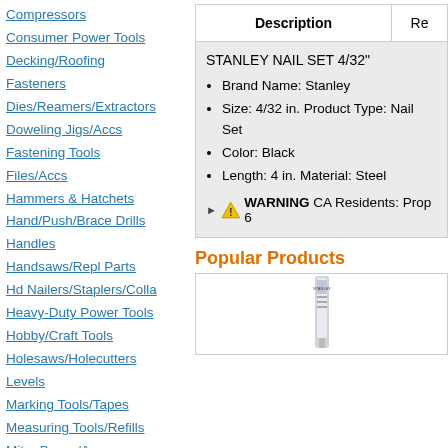Compressors
Consumer Power Tools
Decking/Roofing Fasteners
Dies/Reamers/Extractors
Doweling Jigs/Accs
Fastening Tools
Files/Accs
Hammers & Hatchets
Hand/Push/Brace Drills
Handles
Handsaws/Repl Parts
Hd Nailers/Staplers/Colla
Heavy-Duty Power Tools
Hobby/Craft Tools
Holesaws/Holecutters
Levels
Marking Tools/Tapes
Measuring Tools/Refills
Mitre Boxes/Accs
Nail Sets/Awls/Accs
| Description | Re |
| --- | --- |
| STANLEY NAIL SET 4/32"
Brand Name: Stanley
Size: 4/32 in. Product Type: Nail Set
Color: Black
Length: 4 in. Material: Steel
▶ ⚠ WARNING CA Residents: Prop 6 |  |
Popular Products
[Figure (photo): Product image of a nail set in packaging]